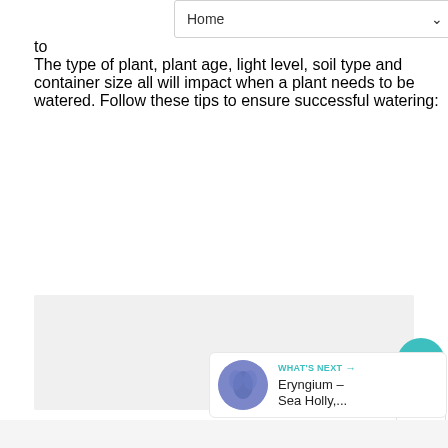Home
The type of plant, plant age, light level, soil type and container size all will impact when a plant needs to be watered. Follow these tips to ensure successful watering:
[Figure (photo): Gray placeholder image area]
WHAT'S NEXT → Eryngium – Sea Holly,...